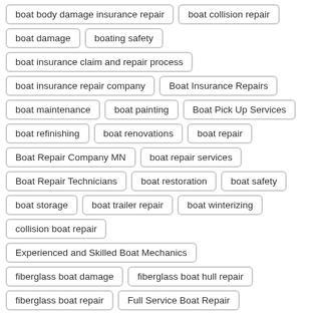boat body damage insurance repair
boat collision repair
boat damage
boating safety
boat insurance claim and repair process
boat insurance repair company
Boat Insurance Repairs
boat maintenance
boat painting
Boat Pick Up Services
boat refinishing
boat renovations
boat repair
Boat Repair Company MN
boat repair services
Boat Repair Technicians
boat restoration
boat safety
boat storage
boat trailer repair
boat winterizing
collision boat repair
Experienced and Skilled Boat Mechanics
fiberglass boat damage
fiberglass boat hull repair
fiberglass boat repair
Full Service Boat Repair
hull repair
Insurance Approved Boat Repair Company